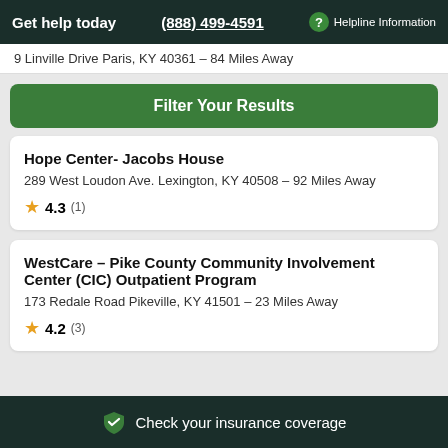Get help today  (888) 499-4591  Helpline Information
9 Linville Drive Paris, KY 40361 – 84 Miles Away
Filter Your Results
Hope Center- Jacobs House
289 West Loudon Ave. Lexington, KY 40508 – 92 Miles Away
★ 4.3 (1)
WestCare – Pike County Community Involvement Center (CIC) Outpatient Program
173 Redale Road Pikeville, KY 41501 – 23 Miles Away
★ 4.2 (3)
Check your insurance coverage